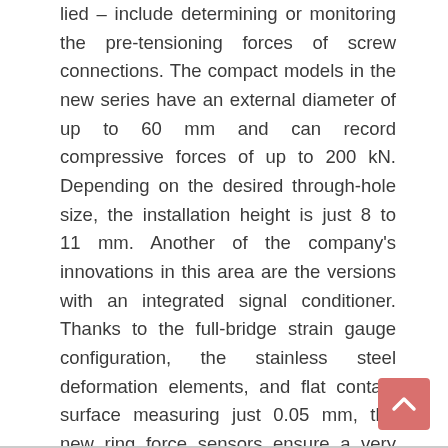lied – include determining or monitoring the pre-tensioning forces of screw connections. The compact models in the new series have an external diameter of up to 60 mm and can record compressive forces of up to 200 kN. Depending on the desired through-hole size, the installation height is just 8 to 11 mm. Another of the company's innovations in this area are the versions with an integrated signal conditioner. Thanks to the full-bridge strain gauge configuration, the stainless steel deformation elements, and flat contact surface measuring just 0.05 mm, the new ring force sensors ensure a very high level of insensitivity to eccentric forces. Inelta supplies the standard models in an encapsulated design together with a matching signal conditioner – and can also be provided with an integrated newton indicator if required. Further versions of the ring force sensor are currently under